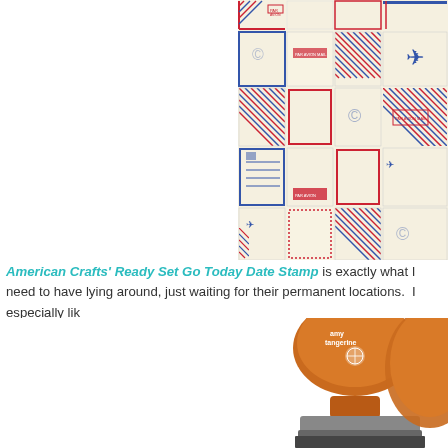[Figure (illustration): Grid of airmail-style envelope and card designs in red and blue diagonal stripe patterns, showing various postcard and envelope templates]
American Crafts' Ready Set Go Today Date Stamp is exactly what I need to have lying around, just waiting for their permanent locations.  I especially lik
[Figure (photo): Orange-handled Amy Tangerine date stamp with rubber stamp base, partially visible at bottom right of page]